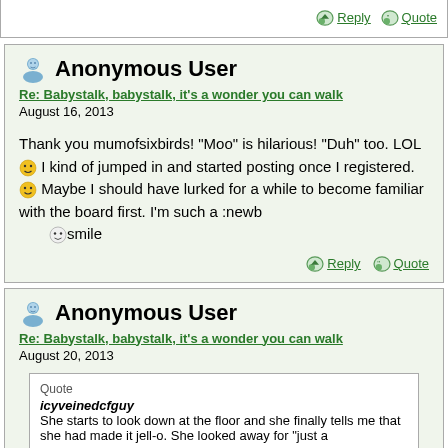Reply   Quote
Anonymous User
Re: Babystalk, babystalk, it's a wonder you can walk
August 16, 2013
Thank you mumofsixbirds! "Moo" is hilarious! "Duh" too. LOL 😄 I kind of jumped in and started posting once I registered. 😊 Maybe I should have lurked for a while to become familiar with the board first. I'm such a :newb 😊 smile
Reply   Quote
Anonymous User
Re: Babystalk, babystalk, it's a wonder you can walk
August 20, 2013
Quote
icyveinedcfguy
She starts to look down at the floor and she finally tells me that she had made it jell-o. She looked away for "just a